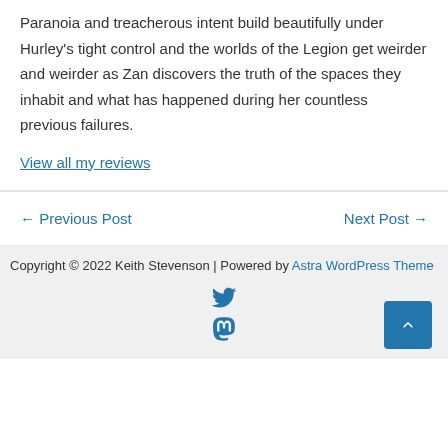Paranoia and treacherous intent build beautifully under Hurley's tight control and the worlds of the Legion get weirder and weirder as Zan discovers the truth of the spaces they inhabit and what has happened during her countless previous failures.
View all my reviews
← Previous Post
Next Post →
Copyright © 2022 Keith Stevenson | Powered by Astra WordPress Theme